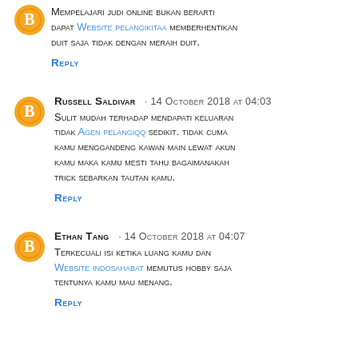Mempelajari judi online bukan berarti dapat Website pelangikitaa memberhentikan duit saja tidak dengan meraih duit.
REPLY
Russell Saldivar · 14 October 2018 at 04:03
Sulit mudah terhadap mendapati keluaran tidak Agen pelangiqq sedikit. tidak cuma kamu menggandeng kawan main lewat akun kamu maka kamu mesti tahu bagaimanakah trick sebarkan tautan kamu.
REPLY
Ethan Tang · 14 October 2018 at 04:07
Terkecuali isi ketika luang kamu dan Website indosahabat memutus hobby saja tentunya kamu mau menang.
REPLY